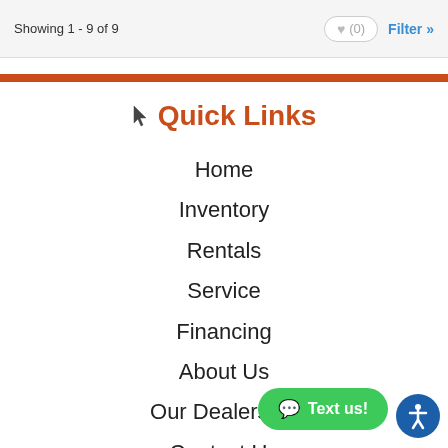Showing 1 - 9 of 9
Quick Links
Home
Inventory
Rentals
Service
Financing
About Us
Our Dealership
Contact Us